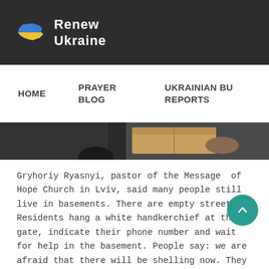Renew Ukraine
HOME   PRAYER BLOG   UKRAINIAN BU REPORTS
[Figure (photo): Person handing a cardboard box, close-up of hands and box, dark clothing]
Gryhoriy Ryasnyi, pastor of the Message of Hope Church in Lviv, said many people still live in basements. There are empty streets. Residents hang a white handkerchief at the gate, indicate their phone number and wait for help in the basement. People say: we are afraid that there will be shelling now. They are very frightened by the horrors they have experienced.
[Figure (photo): Top of a white van/vehicle with bare trees in the background, grey sky]